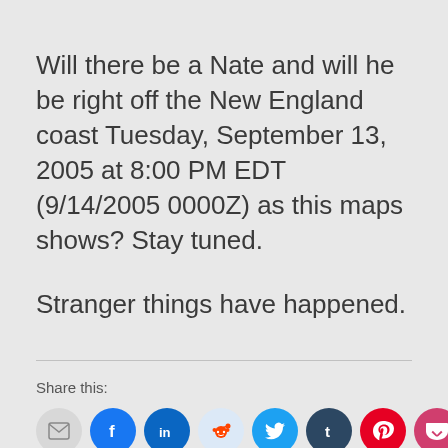Will there be a Nate and will he be right off the New England coast Tuesday, September 13, 2005 at 8:00 PM EDT (9/14/2005 0000Z) as this maps shows? Stay tuned.
Stranger things have happened.
Share this: